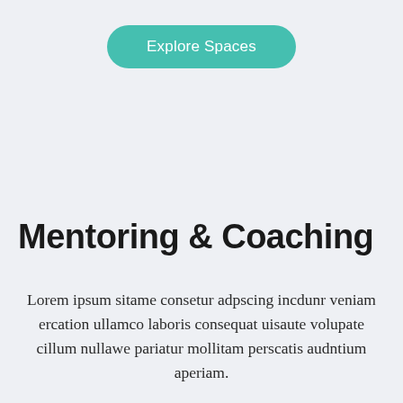[Figure (other): Teal rounded pill-shaped button with white text 'Explore Spaces']
Mentoring & Coaching
Lorem ipsum sitame consetur adpscing incdunr veniam ercation ullamco laboris consequat uisaute volupate cillum nullawe pariatur mollitam perscatis audntium aperiam.